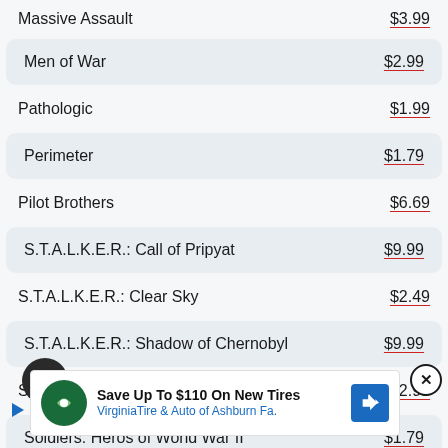Massive Assault  $3.99
Men of War  $2.99
Pathologic  $1.99
Perimeter  $1.79
Pilot Brothers  $6.69
S.T.A.L.K.E.R.: Call of Pripyat  $9.99
S.T.A.L.K.E.R.: Clear Sky  $2.49
S.T.A.L.K.E.R.: Shadow of Chernobyl  $9.99
S2: Silent Storm Gold  $2.99
Soldiers: Heros of World War II  $1.79
Space R...  $4.49
[Figure (screenshot): Advertisement banner: Save Up To $110 On New Tires - VirginiaTire & Auto of Ashburn Fa.]